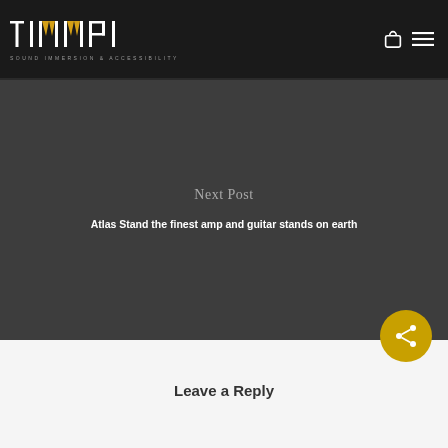TIMMPI — SOUND IMMERSION & ACCESSIBILITY
Next Post
Atlas Stand the finest amp and guitar stands on earth
Leave a Reply